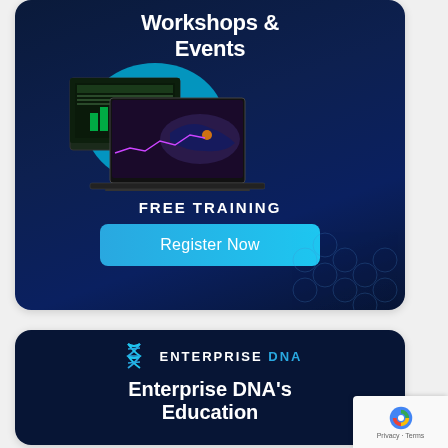Workshops & Events
[Figure (screenshot): Laptop and tablet screens showing data analytics dashboards with charts and maps on a dark blue background with cyan blob shape]
FREE TRAINING
Register Now
[Figure (logo): Enterprise DNA logo with DNA helix icon in blue]
Enterprise DNA's Education